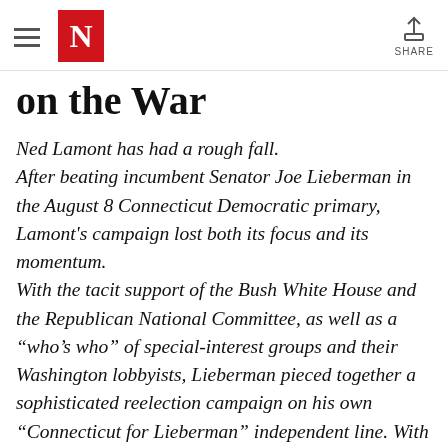N [The Nation logo] | SHARE
on the War
Ned Lamont has had a rough fall. After beating incumbent Senator Joe Lieberman in the August 8 Connecticut Democratic primary, Lamont's campaign lost both its focus and its momentum. With the tacit support of the Bush White House and the Republican National Committee, as well as a “who’s who” of special-interest groups and their Washington lobbyists, Lieberman pieced together a sophisticated reelection campaign on his own “Connecticut for Lieberman” independent line. With relative ease, the senior senator and consummate Washington insider successfully repositioned himself